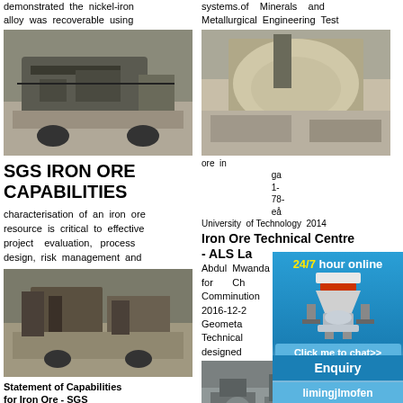demonstrated the nickel-iron alloy was recoverable using
[Figure (photo): Mining/crushing equipment on-site, mobile crusher unit]
SGS IRON ORE CAPABILITIES
characterisation of an iron ore resource is critical to effective project evaluation, process design, risk management and
[Figure (photo): Mining excavation site with heavy machinery]
Statement of Capabilities for Iron Ore - SGS
and treatment of iron ore. Here
systems.of Minerals and Metallurgical Engineering Test
[Figure (photo): Large pile of crushed ore aggregate with equipment]
ore in ga 1- 78- eå University of Technology 2014
Iron Ore Technical Centre - ALS La
Abdul Mwanda Test Methods for Ch Comminution 2016-12-2 Geometa Technical designed
[Figure (photo): Industrial milling/processing facility interior]
Metallurg provides e Batch Sc Veritas
[Figure (advertisement): 24/7 hour online chat advertisement with cone crusher image, Click me to chat button, Enquiry section, limingjlmofen username]